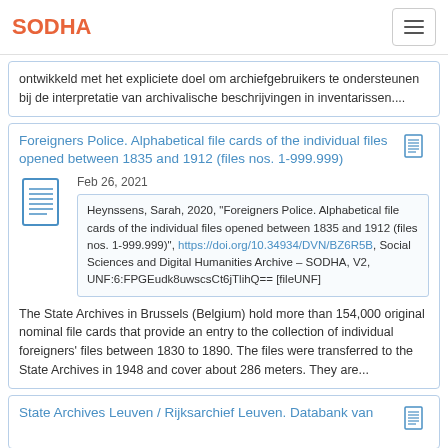SODHA
ontwikkeld met het expliciete doel om archiefgebruikers te ondersteunen bij de interpretatie van archivalische beschrijvingen in inventarissen....
Foreigners Police. Alphabetical file cards of the individual files opened between 1835 and 1912 (files nos. 1-999.999)
Feb 26, 2021
Heynssens, Sarah, 2020, "Foreigners Police. Alphabetical file cards of the individual files opened between 1835 and 1912 (files nos. 1-999.999)", https://doi.org/10.34934/DVN/BZ6R5B, Social Sciences and Digital Humanities Archive – SODHA, V2, UNF:6:FPGEudk8uwscsCt6jTlihQ== [fileUNF]
The State Archives in Brussels (Belgium) hold more than 154,000 original nominal file cards that provide an entry to the collection of individual foreigners' files between 1830 to 1890. The files were transferred to the State Archives in 1948 and cover about 286 meters. They are...
State Archives Leuven / Rijksarchief Leuven. Databank van